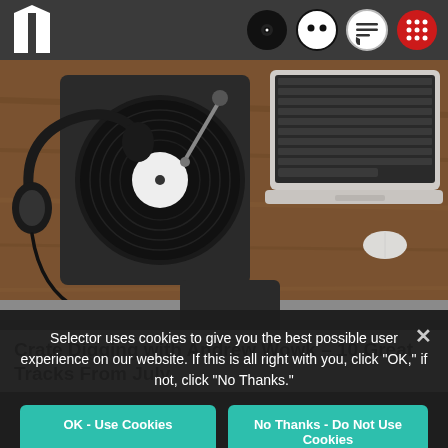[Figure (screenshot): Website navigation bar with Selector logo (two columns icon) on left and four circular icons on right: vinyl record, face emoji, chat bubble, red grid]
[Figure (photo): Overhead view of a wooden desk with turntable/record player, headphones, vinyl record, and laptop]
Crate Digging with Andrew Wowk – 10 Great Tracks From July
Selector uses cookies to give you the best possible user experience on our website. If this is all right with you, click "OK," if not, click "No Thanks."